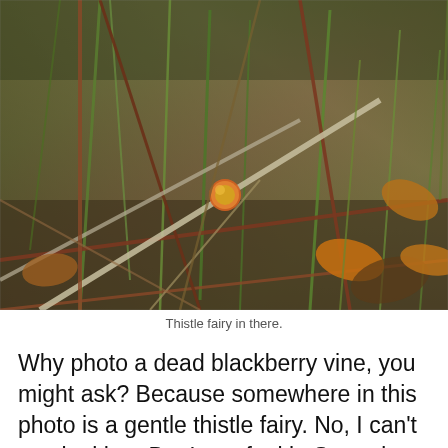[Figure (photo): Close-up photograph of a dead blackberry vine with dried grass, twigs, leaves, and a small reddish-yellow berry or bud visible among the undergrowth on the forest floor.]
Thistle fairy in there.
Why photo a dead blackberry vine, you might ask? Because somewhere in this photo is a gentle thistle fairy. No, I can't see it either. But I can feel it. Someday soon I will draw what I feel it looks